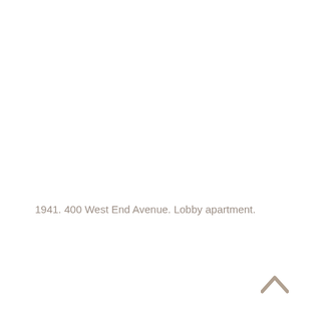1941. 400 West End Avenue. Lobby apartment.
[Figure (other): Back-to-top arrow icon, chevron pointing upward in tan/beige color]